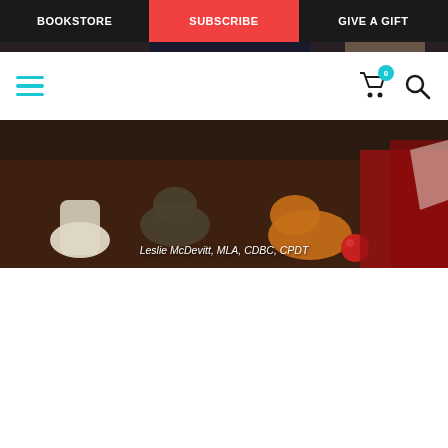BOOKSTORE | SUBSCRIBE | GIVE A GIFT
[Figure (photo): Navigation bar with BOOKSTORE, SUBSCRIBE (red background), and GIVE A GIFT buttons on dark background, plus hamburger menu icon in teal and cart/search icons on the right]
[Figure (photo): Banner photo of cats and a dog on a dark red rug, with text overlay reading 'Leslie McDevitt, MLA, CDBC, CPDT']
Leslie McDevitt, MLA, CDBC, CPDT